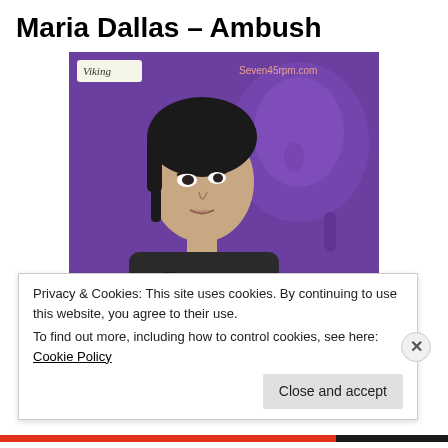Maria Dallas – Ambush
[Figure (photo): Album cover for 'Ambush' by Maria Dallas. Purple background with a black-and-white photo of a young woman with a short dark bob haircut, looking upward, holding a gun. A larger purple-tinted face in the background. 'Viking' label top left, 'Seven45rpm.com' top right, 'ambush' text in pink/orange at bottom right.]
Privacy & Cookies: This site uses cookies. By continuing to use this website, you agree to their use.
To find out more, including how to control cookies, see here: Cookie Policy
Close and accept